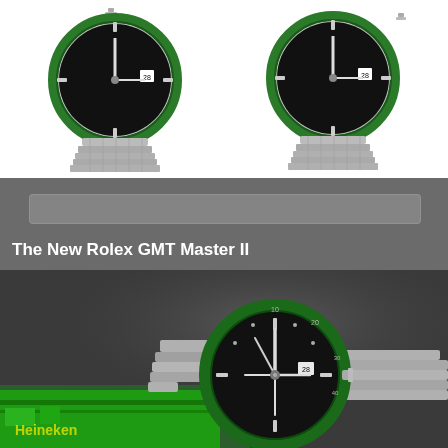[Figure (photo): Two Rolex GMT Master II watches with black dials and green bezels on jubilee bracelets, side by side on white background]
[Figure (photo): Search bar UI element on dark gray background]
The New Rolex GMT Master II
[Figure (photo): Rolex watch with green bezel and black dial on stainless bracelet, photographed on top of a green Heineken beer can, dark moody background]